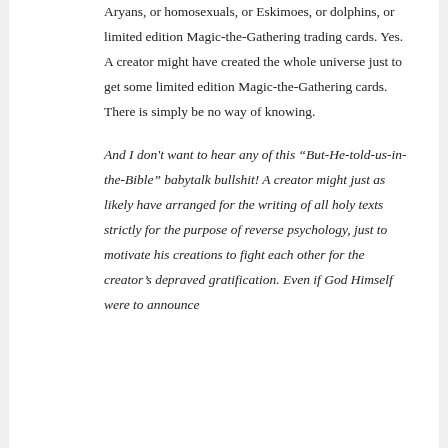Aryans, or homosexuals, or Eskimoes, or dolphins, or limited edition Magic-the-Gathering trading cards. Yes. A creator might have created the whole universe just to get some limited edition Magic-the-Gathering cards. There is simply be no way of knowing.
And I don't want to hear any of this “But-He-told-us-in-the-Bible” babytalk bullshit! A creator might just as likely have arranged for the writing of all holy texts strictly for the purpose of reverse psychology, just to motivate his creations to fight each other for the creator’s depraved gratification. Even if God Himself were to announce